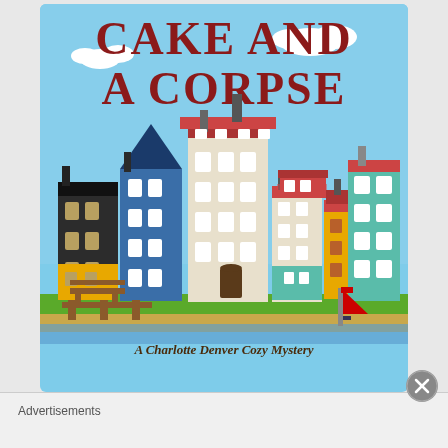[Figure (illustration): Book cover illustration for a cozy mystery novel. Title reads 'CAKE AND A CORPSE' in large dark red serif letters at the top. Below is a colorful cartoon illustration of a European-style townscape with multiple colorful buildings (black, blue, red, cream, teal, yellow, orange buildings with various window styles and rooftops). In the foreground is a green lawn, a wooden dock/pier with red sailboat visible on right side. At the bottom of the cover text reads 'A Charlotte Denver Cozy Mystery'. Below the book cover image is an advertisement bar labeled 'Advertisements' on a grey background, with a circular close button (X) on the right.]
Advertisements